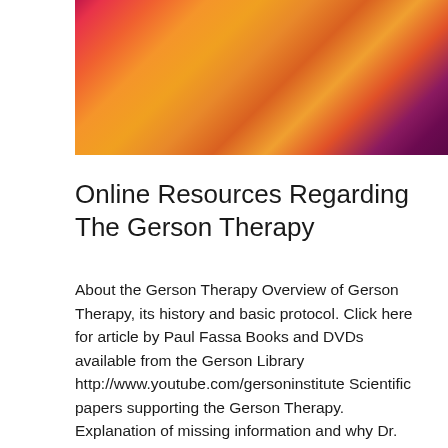[Figure (photo): Close-up photograph of colorful textured fibrous material in orange, yellow, red, pink, and purple tones]
Online Resources Regarding The Gerson Therapy
About the Gerson Therapy Overview of Gerson Therapy, its history and basic protocol. Click here for article by Paul Fassa Books and DVDs available from the Gerson Library http://www.youtube.com/gersoninstitute Scientific papers supporting the Gerson Therapy. Explanation of missing information and why Dr. Max Gerson's work is censored on Wikipedia. Gerson Documentaries The Gerson Miracle http://www.hulu.com/watch/180363/the-gerson-miracle The Gerson Miracle, with